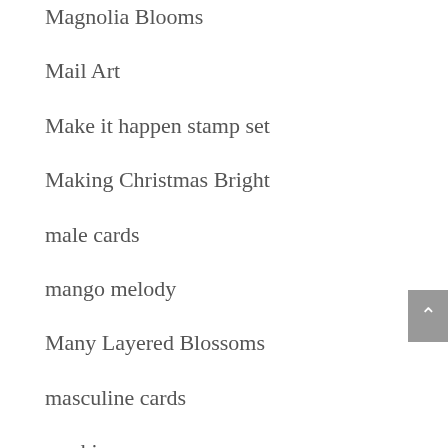Magnolia Blooms
Mail Art
Make it happen stamp set
Making Christmas Bright
male cards
mango melody
Many Layered Blossoms
masculine cards
masking paper
masking technique